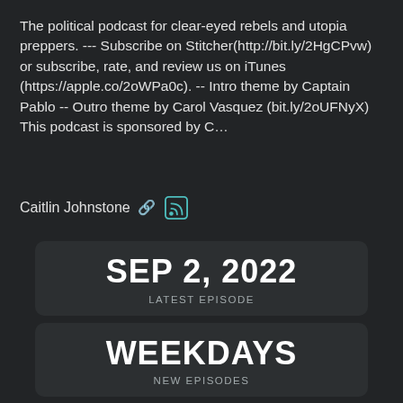The political podcast for clear-eyed rebels and utopia preppers. --- Subscribe on Stitcher(http://bit.ly/2HgCPvw) or subscribe, rate, and review us on iTunes (https://apple.co/2oWPa0c). -- Intro theme by Captain Pablo -- Outro theme by Carol Vasquez (bit.ly/2oUFNyX) This podcast is sponsored by C…
Caitlin Johnstone
SEP 2, 2022
LATEST EPISODE
WEEKDAYS
NEW EPISODES
11M
AVG DURATION